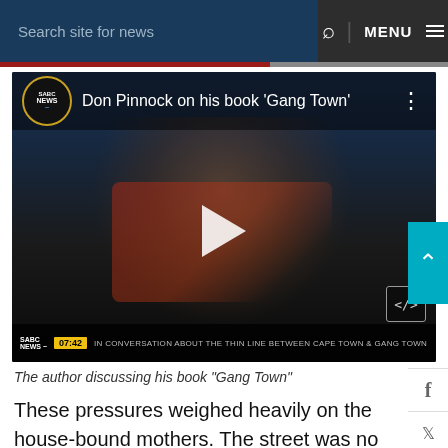Search site for news   MENU
[Figure (screenshot): YouTube-style video thumbnail of Don Pinnock being interviewed on SABC News about his book 'Gang Town'. The thumbnail shows the SABC News logo, video title 'Don Pinnock on his book Gang Town', a play button, and ticker text reading 'IN CONVERSATION ABOUT THE THIN LINE BETWEEN CAPE TOWN & GANG TOWN' with timestamp 07:42.]
The author discussing his book "Gang Town"
These pressures weighed heavily on the house-bound mothers. The street was no longer a safe place for children to play in and there were no longer neighbours or kin to supervise them. The only play-space that felt